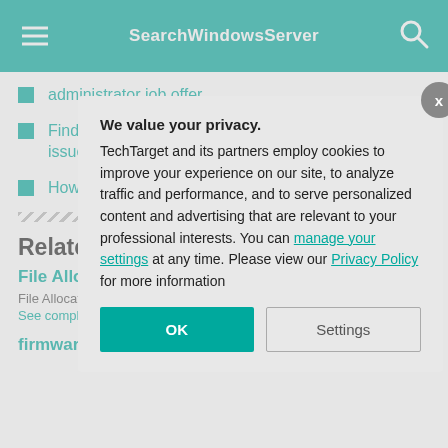SearchWindowsServer
administrator job offer
Find out if Exchange Server 2019 will address admin issues
How does Exchange 2019 affect Unified Messaging?
Related Terms
File Allocation
File Allocation Table support small disks a
See complete definit
firmware
We value your privacy. TechTarget and its partners employ cookies to improve your experience on our site, to analyze traffic and performance, and to serve personalized content and advertising that are relevant to your professional interests. You can manage your settings at any time. Please view our Privacy Policy for more information